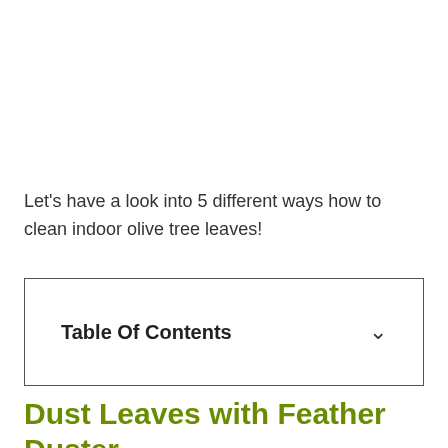Let's have a look into 5 different ways how to clean indoor olive tree leaves!
| Table Of Contents |
| --- |
Dust Leaves with Feather Duster